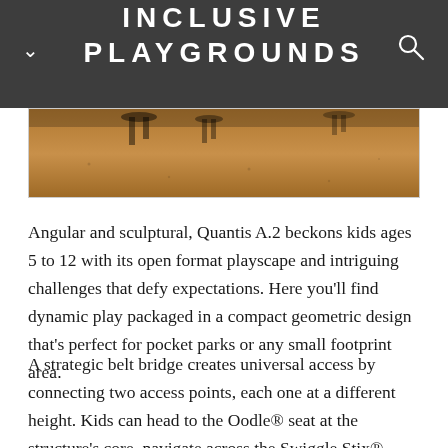INCLUSIVE PLAYGROUNDS
[Figure (photo): Bottom portion of a playground photo showing children's feet/legs on sandy/gravel ground surface, with shadows visible.]
Angular and sculptural, Quantis A.2 beckons kids ages 5 to 12 with its open format playscape and intriguing challenges that defy expectations. Here you'll find dynamic play packaged in a compact geometric design that's perfect for pocket parks or any small footprint area.
A strategic belt bridge creates universal access by connecting two access points, each one at a different height. Kids can head to the Oodle® seat at the structure's core, navigate across the Swiggle Stix®